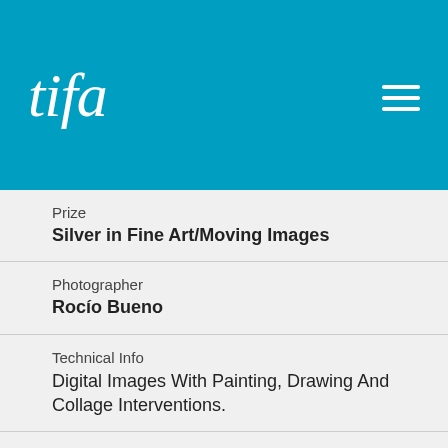[Figure (logo): tifa logo in white italic script on cyan/teal header background with hamburger menu icon on the right]
Prize
Silver in Fine Art/Moving Images
Photographer
Rocío Bueno
Technical Info
Digital Images With Painting, Drawing And Collage Interventions.
Photo Date
2019
Link
https://youtu.be/ab83nebt-sM